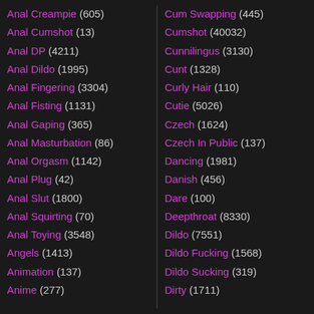Anal Creampie (605)
Anal Cumshot (13)
Anal DP (4211)
Anal Dildo (1995)
Anal Fingering (3304)
Anal Fisting (1131)
Anal Gaping (365)
Anal Masturbation (86)
Anal Orgasm (1142)
Anal Plug (42)
Anal Slut (1800)
Anal Squirting (70)
Anal Toying (3548)
Angels (1413)
Animation (137)
Anime (277)
Cum Swapping (445)
Cumshot (40032)
Cunnilingus (3130)
Cunt (1328)
Curly Hair (110)
Cutie (5026)
Czech (1624)
Czech In Public (137)
Dancing (1981)
Danish (456)
Dare (100)
Deepthroat (8330)
Dildo (7551)
Dildo Fucking (1568)
Dildo Sucking (319)
Dirty (1711)